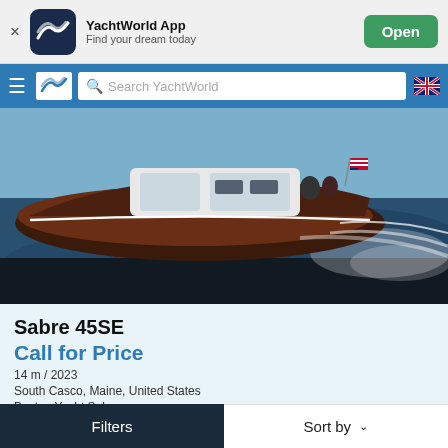[Figure (screenshot): App banner with YachtWorld app icon, name, tagline, and Open button]
[Figure (screenshot): YachtWorld navigation bar with hamburger menu, logo, search bar, and NZ flag]
[Figure (photo): A dark-hulled motorboat (Sabre 45SE) speeding across the water with an American flag at the stern, creating a large wake]
Sabre 45SE
Call for Price
14 m / 2023
South Casco, Maine, United States
Boston Yacht Sales
Filters
Sort by